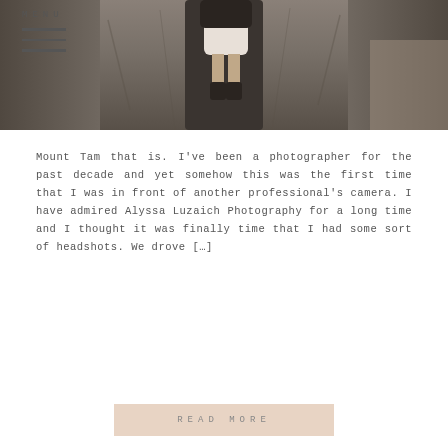[Figure (photo): Outdoor photo of a person wearing a white dress and dark jacket standing against a large rocky tree trunk. MENU text and hamburger icon overlay top-left corner.]
Mount Tam that is. I've been a photographer for the past decade and yet somehow this was the first time that I was in front of another professional's camera. I have admired Alyssa Luzaich Photography for a long time and I thought it was finally time that I had some sort of headshots. We drove […]
READ MORE